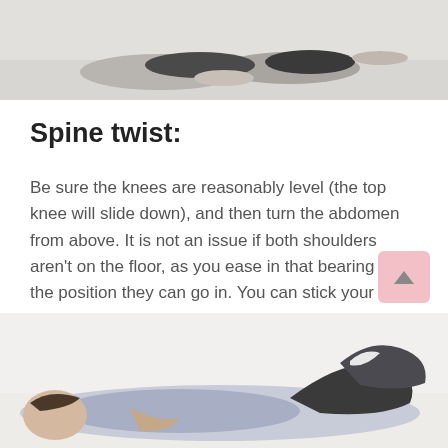[Figure (photo): Cropped photo of a person performing an exercise stretch, seen from above, at the top of the page]
Spine twist:
Be sure the knees are reasonably level (the top knee will slide down), and then turn the abdomen from above. It is not an issue if both shoulders aren't on the floor, as you ease in that bearing in the position they can go in. You can stick your arm back, or you can put your hands behind the ears.
[Figure (photo): Photo of a pregnant woman lying on her back performing a spine twist exercise, with knees bent and dropped to one side]